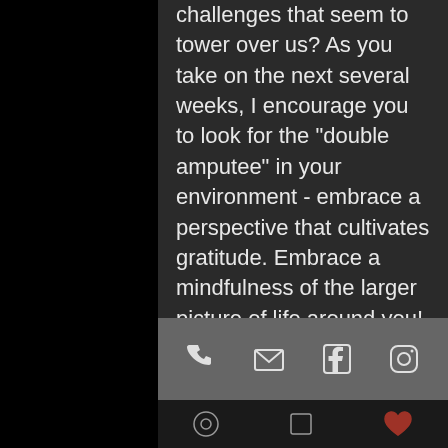challenges that seem to tower over us? As you take on the next several weeks, I encourage you to look for the "double amputee" in your environment - embrace a perspective that cultivates gratitude. Embrace a mindfulness of the larger picture of life around you!

Be the spark of joy in someone's life this week!

Reg
[Figure (screenshot): Mobile app bottom toolbar with phone, email, Facebook, and Instagram icons on a gray background]